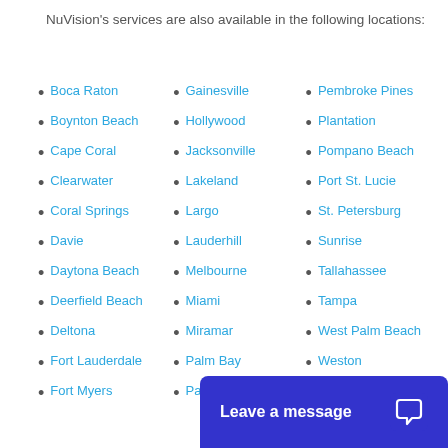NuVision's services are also available in the following locations:
Boca Raton
Boynton Beach
Cape Coral
Clearwater
Coral Springs
Davie
Daytona Beach
Deerfield Beach
Deltona
Fort Lauderdale
Fort Myers
Gainesville
Hollywood
Jacksonville
Lakeland
Largo
Lauderhill
Melbourne
Miami
Miramar
Palm Bay
Palm Coast
Pembroke Pines
Plantation
Pompano Beach
Port St. Lucie
St. Petersburg
Sunrise
Tallahassee
Tampa
West Palm Beach
Weston